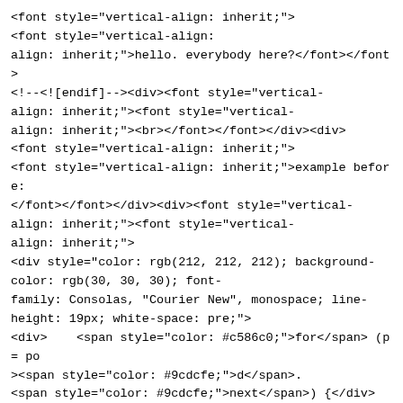<font style="vertical-align: inherit;">
<font style="vertical-align: inherit;">hello. everybody here?</font></font>
<!--<![endif]--><div><font style="vertical-align: inherit;"><font style="vertical-align: inherit;"><br></font></font></div><div>
<font style="vertical-align: inherit;">
<font style="vertical-align: inherit;">example before:
</font></font></div><div><font style="vertical-align: inherit;"><font style="vertical-align: inherit;">
<div style="color: rgb(212, 212, 212); background-color: rgb(30, 30, 30); font-family: Consolas, "Courier New", monospace; line-height: 19px; white-space: pre;">
<div>    <span style="color: #c586c0;">for</span> (p = po
><span style="color: #9cdcfe;">d</span>.
<span style="color: #9cdcfe;">next</span>) {</div>
<div>        <span style="color: #9cdcfe;">p</span>-><span style="color: #9cdcfe;">d</span>.
<span style="color: #9cdcfe;">last</span> = (<span style=
(<span style="color: #4ec9b0;">ngx_pool_t</span>);
</div>
<div>        <span style="color: #9cdcfe;">p</span>-><span style="color: #9cdcfe;">d</span>.
<span style="color: #9cdcfe;">failed</span> = <span style=
</div><div>    }</div></div></font></font></div><div>
<font style="vertical-align: inherit;">
<font style="vertical-align: inherit;"><br></font>
</font></div><div>after: ...</div>